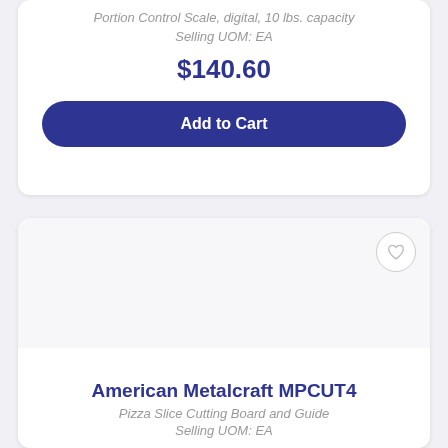Portion Control Scale, digital, 10 lbs. capacity
Selling UOM: EA
$140.60
Add to Cart
[Figure (illustration): Product image area (blank/white) for American Metalcraft MPCUT4, with a heart/wishlist icon button in the top-right corner]
American Metalcraft MPCUT4
Pizza Slice Cutting Board and Guide
Selling UOM: EA